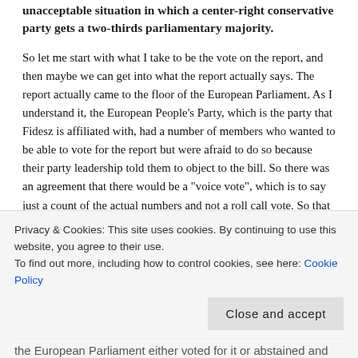unacceptable situation in which a center-right conservative party gets a two-thirds parliamentary majority.
So let me start with what I take to be the vote on the report, and then maybe we can get into what the report actually says. The report actually came to the floor of the European Parliament. As I understand it, the European People's Party, which is the party that Fidesz is affiliated with, had a number of members who wanted to be able to vote for the report but were afraid to do so because their party leadership told them to object to the bill. So there was an agreement that there would be a "voice vote", which is to say just a count of the actual numbers and not a roll call vote. So that said, when you look at the actual numbers for the Tavares Report, the number of people who voted against it was less than half of the total number of European
Privacy & Cookies: This site uses cookies. By continuing to use this website, you agree to their use.
To find out more, including how to control cookies, see here: Cookie Policy
the European Parliament either voted for it or abstained and let it go